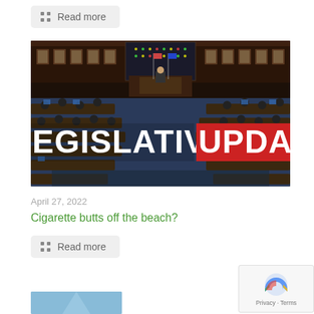Read more
[Figure (photo): Legislative chamber interior with text overlay reading 'LEGISLATIVE UPDATE']
April 27, 2022
Cigarette butts off the beach?
Read more